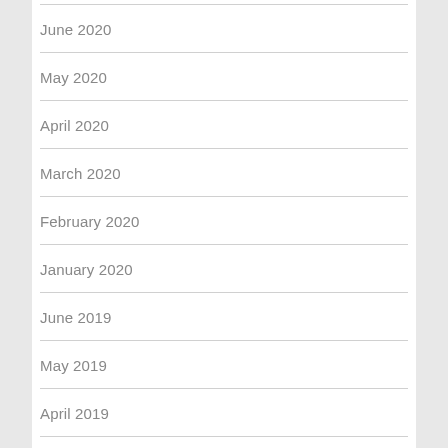June 2020
May 2020
April 2020
March 2020
February 2020
January 2020
June 2019
May 2019
April 2019
March 2019